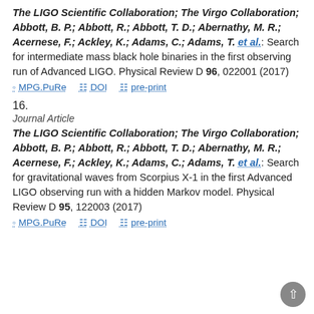The LIGO Scientific Collaboration; The Virgo Collaboration; Abbott, B. P.; Abbott, R.; Abbott, T. D.; Abernathy, M. R.; Acernese, F.; Ackley, K.; Adams, C.; Adams, T. et al.: Search for intermediate mass black hole binaries in the first observing run of Advanced LIGO. Physical Review D 96, 022001 (2017)
MPG.PuRe | DOI | pre-print
16.
Journal Article
The LIGO Scientific Collaboration; The Virgo Collaboration; Abbott, B. P.; Abbott, R.; Abbott, T. D.; Abernathy, M. R.; Acernese, F.; Ackley, K.; Adams, C.; Adams, T. et al.: Search for gravitational waves from Scorpius X-1 in the first Advanced LIGO observing run with a hidden Markov model. Physical Review D 95, 122003 (2017)
MPG.PuRe | DOI | pre-print